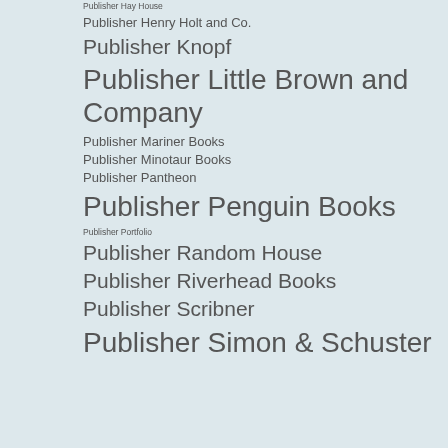Publisher Hay House
Publisher Henry Holt and Co.
Publisher Knopf
Publisher Little Brown and Company
Publisher Mariner Books
Publisher Minotaur Books
Publisher Pantheon
Publisher Penguin Books
Publisher Portfolio
Publisher Random House
Publisher Riverhead Books
Publisher Scribner
Publisher Simon & Schuster